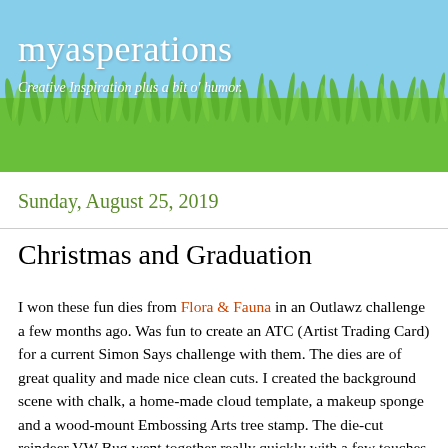[Figure (illustration): Blog header banner with light blue sky gradient at top transitioning to bright green grass at bottom, with stylized grass blade silhouettes]
myasperations
Creative Inspiration plus a bit o' humor.
Sunday, August 25, 2019
Christmas and Graduation
I won these fun dies from Flora & Fauna in an Outlawz challenge a few months ago. Was fun to create an ATC (Artist Trading Card) for a current Simon Says challenge with them. The dies are of great quality and made nice clean cuts. I created the background scene with chalk, a home-made cloud template, a makeup sponge and a wood-mount Embossing Arts tree stamp. The die-cut reindeer VW Bug went together really quickly with a few touches of silver marker and silver gel pen, and a scrap of white paper taped beneath each “headlight.” A few more scraps of paper, twine and ribbon helped to create gifts. Oh… and you can’t see it on the pic, but I also added a strip of acetate for the windshield. When the